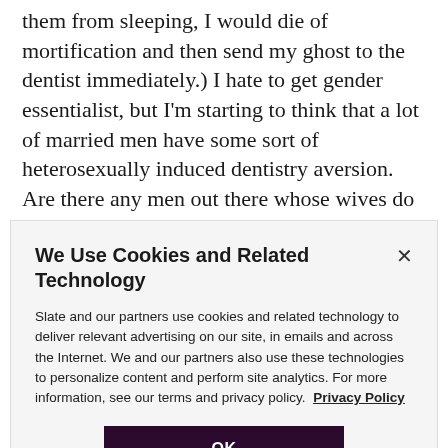them from sleeping, I would die of mortification and then send my ghost to the dentist immediately.) I hate to get gender essentialist, but I'm starting to think that a lot of married men have some sort of heterosexually induced dentistry aversion. Are there any men out there whose wives do this? Any women out there willing to cop to it?
Danny M. Lavery: Thanks for your infinite wisdom and
We Use Cookies and Related Technology
Slate and our partners use cookies and related technology to deliver relevant advertising on our site, in emails and across the Internet. We and our partners also use these technologies to personalize content and perform site analytics. For more information, see our terms and privacy policy.  Privacy Policy
OK